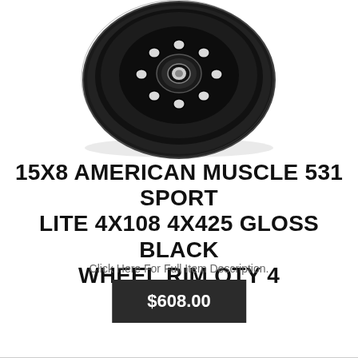[Figure (photo): Black gloss wheel rim (American Muscle 531 Sport Lite) viewed from the front, showing multiple round holes and center cap, on white background.]
15X8 AMERICAN MUSCLE 531 SPORT LITE 4X108 4X425 GLOSS BLACK WHEEL RIM QTY 4
Click Here For Full Item Description.
$608.00